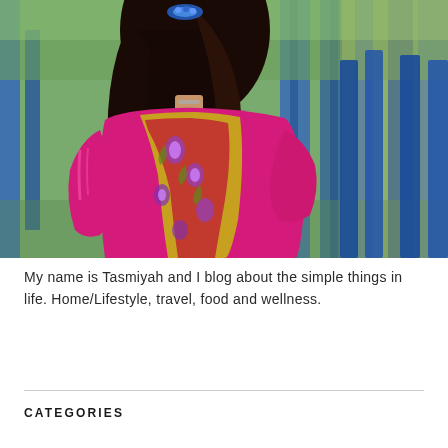[Figure (photo): A woman viewed from behind wearing a bright pink/magenta embroidered traditional outfit with floral patterns in yellow and red. She has long dark hair with a blue/jeweled hair accessory. In the background are blue painted wooden posts/fence and blurred greenery, in a sunny outdoor setting.]
My name is Tasmiyah and I blog about the simple things in life. Home/Lifestyle, travel, food and wellness.
CATEGORIES